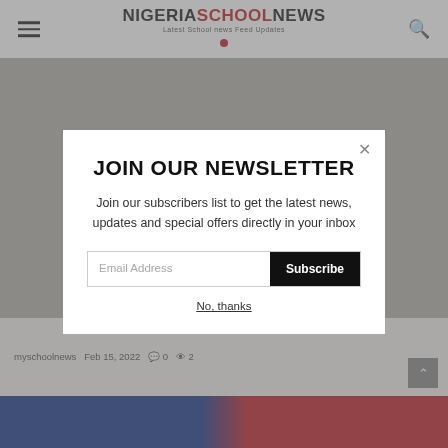NIGERIASCHOOLNEWS Latest School news Feed Updates
[Figure (screenshot): Blurred background showing a school-related webpage with gray tones]
JOIN OUR NEWSLETTER
Join our subscribers list to get the latest news, updates and special offers directly in your inbox
Email Address  Subscribe
No, thanks
myschoolnews  Feb 15, 2022  0  2